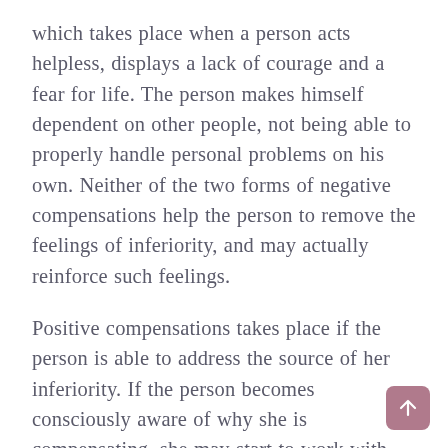which takes place when a person acts helpless, displays a lack of courage and a fear for life. The person makes himself dependent on other people, not being able to properly handle personal problems on his own. Neither of the two forms of negative compensations help the person to remove the feelings of inferiority, and may actually reinforce such feelings.
Positive compensations takes place if the person is able to address the source of her inferiority. If the person becomes consciously aware of why she is compensating, she may start to work with her feelings of inadequacy or incompetence in one area. For example, a woman may feel inferior as a result of a poor social life with few close friends. If she starts to invest a lot of time and